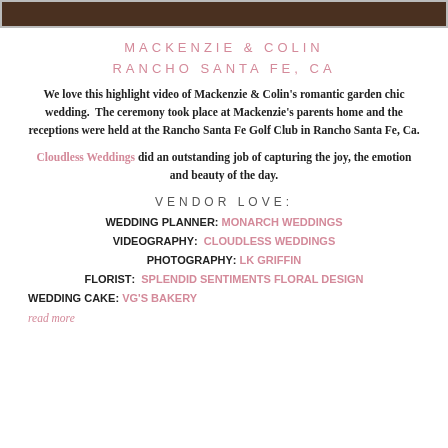[Figure (photo): Dark photo bar at the top of the page showing a wedding scene]
MACKENZIE & COLIN
RANCHO SANTA FE, CA
We love this highlight video of Mackenzie & Colin's romantic garden chic wedding.  The ceremony took place at Mackenzie's parents home and the receptions were held at the Rancho Santa Fe Golf Club in Rancho Santa Fe, Ca.
Cloudless Weddings did an outstanding job of capturing the joy, the emotion and beauty of the day.
VENDOR LOVE:
WEDDING PLANNER: MONARCH WEDDINGS
VIDEOGRAPHY:  CLOUDLESS WEDDINGS
PHOTOGRAPHY: LK GRIFFIN
FLORIST:  SPLENDID SENTIMENTS FLORAL DESIGN
WEDDING CAKE: VG'S BAKERY
read more